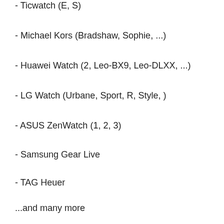- Ticwatch (E, S)
- Michael Kors (Bradshaw, Sophie, ...)
- Huawei Watch (2, Leo-BX9, Leo-DLXX, ...)
- LG Watch (Urbane, Sport, R, Style, )
- ASUS ZenWatch (1, 2, 3)
- Samsung Gear Live
- TAG Heuer
...and many more
If your watch is not listed, please check if your Smartwatch runs Wear OS (former Android Wear).